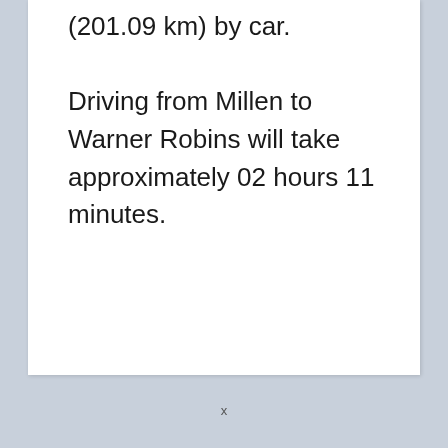(201.09 km) by car.

Driving from Millen to Warner Robins will take approximately 02 hours 11 minutes.
x